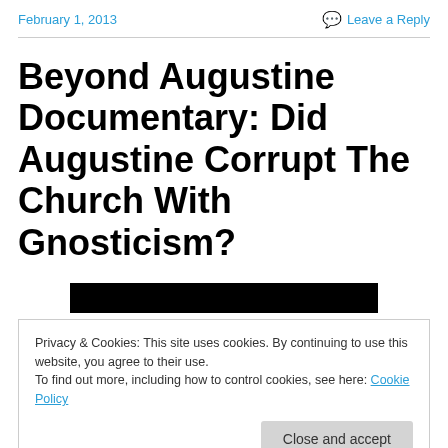February 1, 2013   Leave a Reply
Beyond Augustine Documentary: Did Augustine Corrupt The Church With Gnosticism?
[Figure (other): Black bar (redacted/blurred image area)]
Privacy & Cookies: This site uses cookies. By continuing to use this website, you agree to their use.
To find out more, including how to control cookies, see here: Cookie Policy
Close and accept
[Figure (other): Black bar at bottom (redacted/blurred image area)]